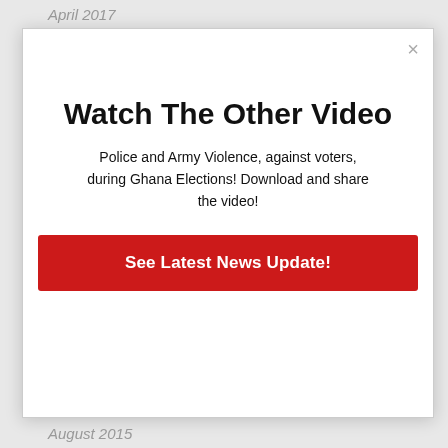April 2017
[Figure (screenshot): Modal popup dialog with close button (×), title 'Watch The Other Video', body text about Ghana Elections violence, and a red call-to-action button 'See Latest News Update!']
August 2015